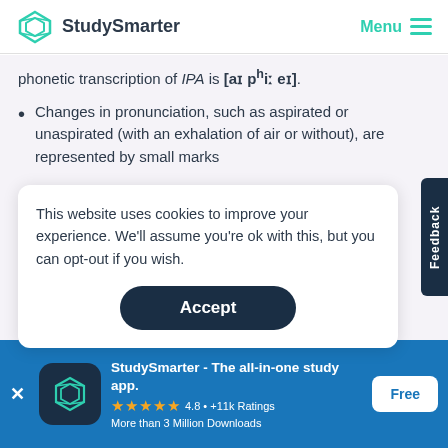StudySmarter | Menu
phonetic transcription of IPA is [aɪ pʰiː eɪ].
Changes in pronunciation, such as aspirated or unaspirated (with an exhalation of air or without), are represented by small marks
This website uses cookies to improve your experience. We'll assume you're ok with this, but you can opt-out if you wish.
Accept
StudySmarter - The all-in-one study app.
4.8 • +11k Ratings
More than 3 Million Downloads